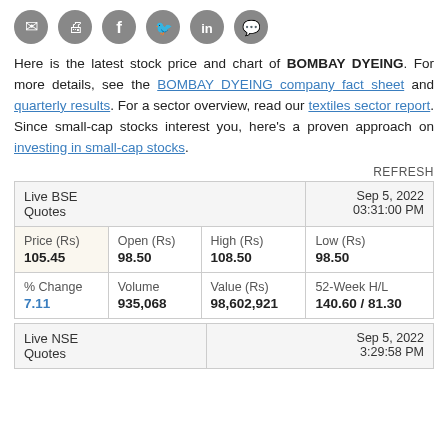[Figure (other): Row of 6 social share icon circles (email, print, facebook, twitter, linkedin, whatsapp)]
Here is the latest stock price and chart of BOMBAY DYEING. For more details, see the BOMBAY DYEING company fact sheet and quarterly results. For a sector overview, read our textiles sector report. Since small-cap stocks interest you, here's a proven approach on investing in small-cap stocks.
REFRESH
| Live BSE Quotes |  |  | Sep 5, 2022 03:31:00 PM |
| --- | --- | --- | --- |
| Price (Rs)
105.45 | Open (Rs)
98.50 | High (Rs)
108.50 | Low (Rs)
98.50 |
| % Change
7.11 | Volume
935,068 | Value (Rs)
98,602,921 | 52-Week H/L
140.60 / 81.30 |
| Live NSE Quotes |  |  | Sep 5, 2022 3:29:58 PM |
| --- | --- | --- | --- |